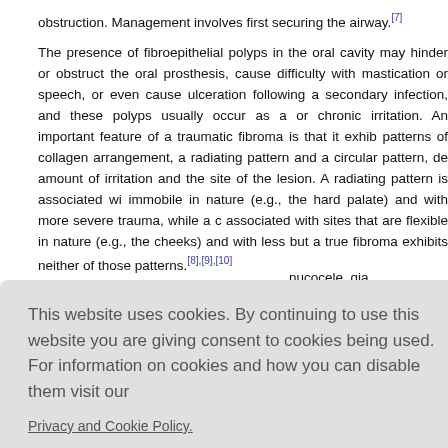obstruction. Management involves first securing the airway.[7]
The presence of fibroepithelial polyps in the oral cavity may hinder or obstruct the oral prosthesis, cause difficulty with mastication or speech, or even cause ulceration following a secondary infection, and these polyps usually occur as a or chronic irritation. An important feature of a traumatic fibroma is that it exhibits patterns of collagen arrangement, a radiating pattern and a circular pattern, depending on the amount of irritation and the site of the lesion. A radiating pattern is associated with immobile in nature (e.g., the hard palate) and with more severe trauma, while a circular pattern is associated with sites that are flexible in nature (e.g., the cheeks) and with less but a true fibroma exhibits neither of those patterns.[8],[9],[10]
nucocele, gia lymphang onsil.[10] Sur alities are ele pumped pul d sodium te issue histop se polyps m ence is mo
This website uses cookies. By continuing to use this website you are giving consent to cookies being used. For information on cookies and how you can disable them visit our Privacy and Cookie Policy. AGREE & PROCEED